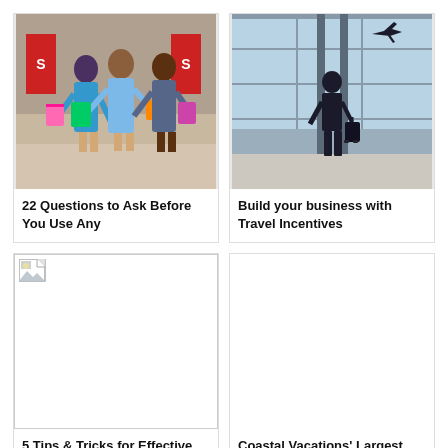[Figure (photo): Three young women shopping, holding colorful bags, in front of a store with sale signs]
22 Questions to Ask Before You Use Any
[Figure (photo): Silhouette of a man with luggage at an airport, airplane visible through large glass windows]
Build your business with Travel Incentives
[Figure (photo): Broken/missing image placeholder]
5 Tips & Tricks for Effective Online
[Figure (photo): Blank/missing image area]
Coastal Vacations' Largest Travel Package
[Figure (photo): Partial image at bottom left, blue tones]
[Figure (photo): Partial image at bottom right, blue tones]